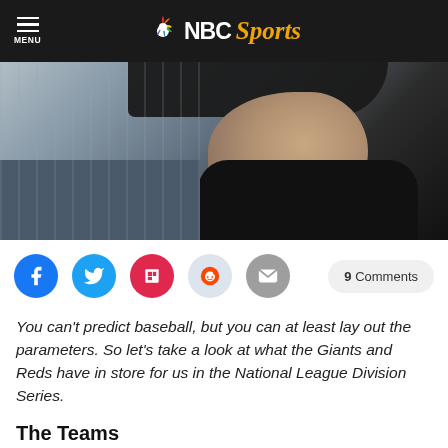MENU | NBC Sports
[Figure (photo): Close-up profile photo of a young man wearing a dark baseball cap and dark jacket, looking to the right, with a blurred background]
[Figure (infographic): Social sharing icons row: Facebook (blue circle), Twitter (blue circle), Flipboard (red circle), Reddit (light blue circle), Email (gray circle), and a '9 Comments' button on the right]
You can't predict baseball, but you can at least lay out the parameters. So let's take a look at what the Giants and Reds have in store for us in the National League Division Series.
The Teams